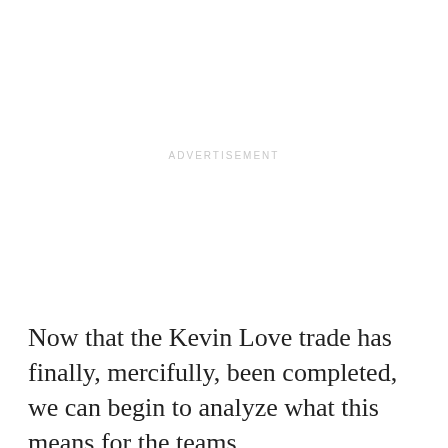ADVERTISEMENT
Now that the Kevin Love trade has finally, mercifully, been completed, we can begin to analyze what this means for the teams involved…